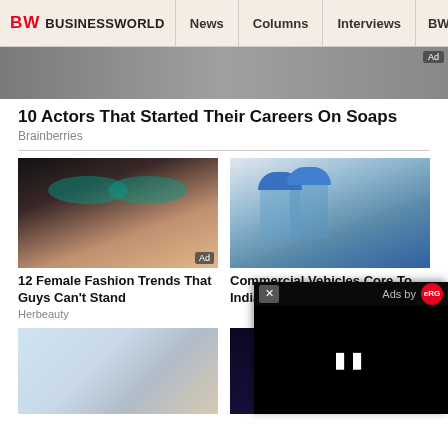BW BUSINESSWORLD | News | Columns | Interviews | BW
[Figure (photo): Top banner advertisement image, partially visible]
10 Actors That Started Their Careers On Soaps
Brainberries
[Figure (photo): Close-up of a woman with dramatic teal eye makeup and dark hair]
12 Female Fashion Trends That Guys Can't Stand
Herbeauty
[Figure (photo): Workers in blue hard hats at an industrial/manufacturing facility]
Commercial Vehicles Core To India's Competitiveness
[Figure (photo): Hand holding a chrome/silver object, close-up]
[Figure (photo): Dark space or cosmic scene with purple/blue hues]
[Figure (screenshot): Video ad popup overlay with close button, Ads by logo, and pause controls]